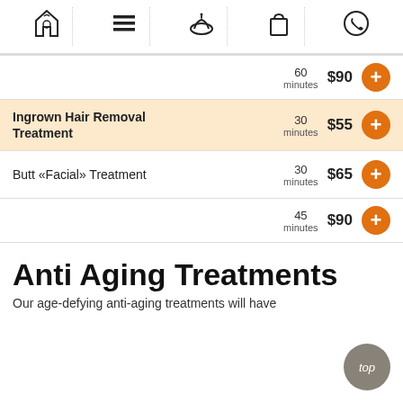[Figure (other): Navigation bar with 5 icons: home/spa logo, menu (hamburger), spa bowl with flower, shopping bag, phone]
60 minutes  $90  [add button]
Ingrown Hair Removal Treatment  30 minutes  $55  [add button]
Butt «Facial» Treatment  30 minutes  $65  [add button]
45 minutes  $90  [add button]
Anti Aging Treatments
Our age-defying anti-aging treatments will have